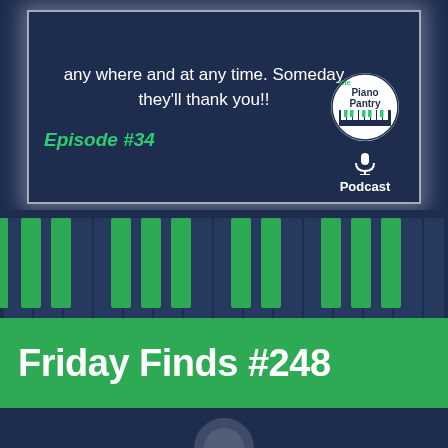any where and at any time. Someday they’ll thank you!!
Episode #34
[Figure (logo): The Piano Pantry Podcast circular logo with piano keys and microphone icon]
[Figure (illustration): Piano keyboard illustration with green black keys on dark navy background]
Friday Finds #248
[Figure (illustration): Bottom navy strip with partial circular logo element]